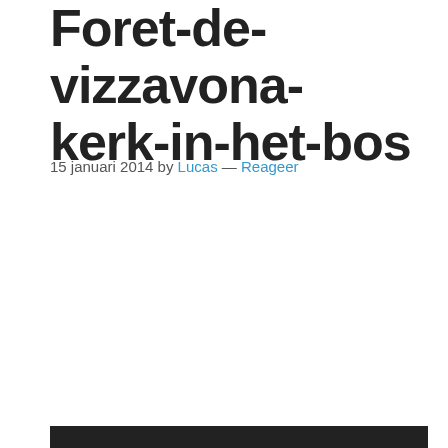Foret-de-vizzavona-kerk-in-het-bos
15 januari 2014 by Lucas — Reageer